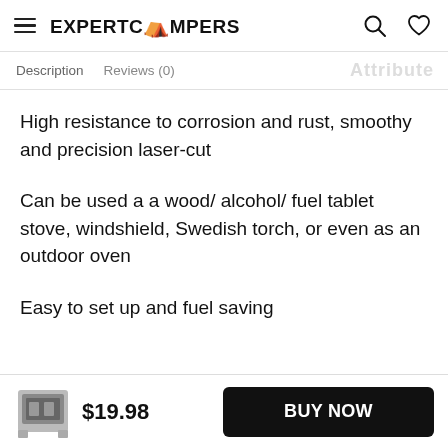EXPERTCAMPERS
Description   Reviews (0)
High resistance to corrosion and rust, smoothy and precision laser-cut
Can be used a a wood/ alcohol/ fuel tablet stove, windshield, Swedish torch, or even as an outdoor oven
Easy to set up and fuel saving
$19.98   BUY NOW